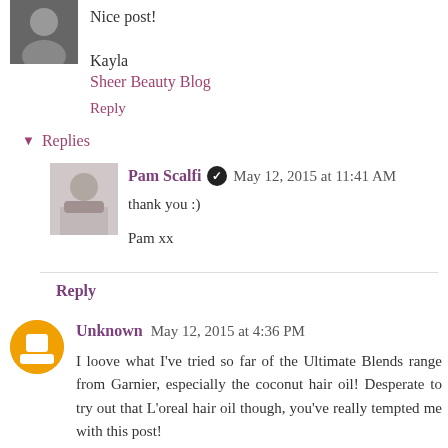[Figure (photo): Small avatar photo of a person]
Nice post!
Kayla
Sheer Beauty Blog
Reply
Replies
[Figure (photo): Avatar photo of Pam Scalfi]
Pam Scalfi   May 12, 2015 at 11:41 AM
thank you :)
Pam xx
Reply
[Figure (logo): Orange circle Blogger icon for Unknown user]
Unknown May 12, 2015 at 4:36 PM
I loove what I've tried so far of the Ultimate Blends range from Garnier, especially the coconut hair oil! Desperate to try out that L'oreal hair oil though, you've really tempted me with this post!